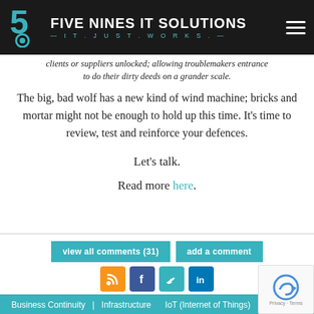[Figure (logo): Five Nines IT Solutions logo with teal 59 icon and tagline IT.JUST.WORKS.]
clients or suppliers unlocked; allowing troublemakers entrance to do their dirty deeds on a grander scale.
The big, bad wolf has a new kind of wind machine; bricks and mortar might not be enough to hold up this time. It's time to review, test and reinforce your defences.
Let's talk.
Read more here.
view all comments (31)
add a comment
[Figure (screenshot): RSS, Facebook, Twitter, LinkedIn social media icons]
Business Continuity | Infrastructure IoT (Internet of Things) | Cyberwar